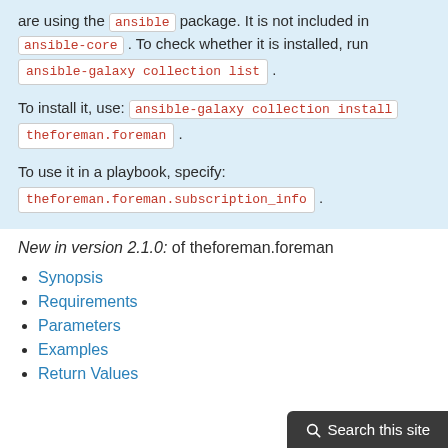are using the ansible package. It is not included in ansible-core . To check whether it is installed, run ansible-galaxy collection list .
To install it, use: ansible-galaxy collection install theforeman.foreman .
To use it in a playbook, specify: theforeman.foreman.subscription_info .
New in version 2.1.0: of theforeman.foreman
Synopsis
Requirements
Parameters
Examples
Return Values